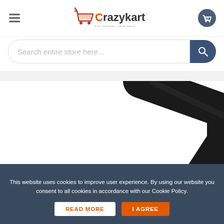[Figure (logo): Crazykart shopping website logo with orange shopping cart icon and text]
[Figure (screenshot): Search bar with placeholder text 'Search entire store here...' and dark blue search button with magnifier icon]
[Figure (photo): Close-up photo of a black HDMI or DVI cable connector with gold-plated pins on white background]
This website uses cookies to improve user experience. By using our website you consent to all cookies in accordance with our Cookie Policy.
READ MORE
I AGREE